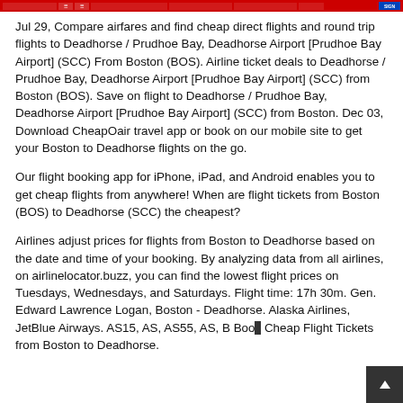Navigation bar with red background
Jul 29, Compare airfares and find cheap direct flights and round trip flights to Deadhorse / Prudhoe Bay, Deadhorse Airport [Prudhoe Bay Airport] (SCC) From Boston (BOS). Airline ticket deals to Deadhorse / Prudhoe Bay, Deadhorse Airport [Prudhoe Bay Airport] (SCC) from Boston (BOS). Save on flight to Deadhorse / Prudhoe Bay, Deadhorse Airport [Prudhoe Bay Airport] (SCC) from Boston. Dec 03, Download CheapOair travel app or book on our mobile site to get your Boston to Deadhorse flights on the go.
Our flight booking app for iPhone, iPad, and Android enables you to get cheap flights from anywhere! When are flight tickets from Boston (BOS) to Deadhorse (SCC) the cheapest?
Airlines adjust prices for flights from Boston to Deadhorse based on the date and time of your booking. By analyzing data from all airlines, on airlinelocator.buzz, you can find the lowest flight prices on Tuesdays, Wednesdays, and Saturdays. Flight time: 17h 30m. Gen. Edward Lawrence Logan, Boston - Deadhorse. Alaska Airlines, JetBlue Airways. AS15, AS, AS55, AS, B Boo Cheap Flight Tickets from Boston to Deadhorse.